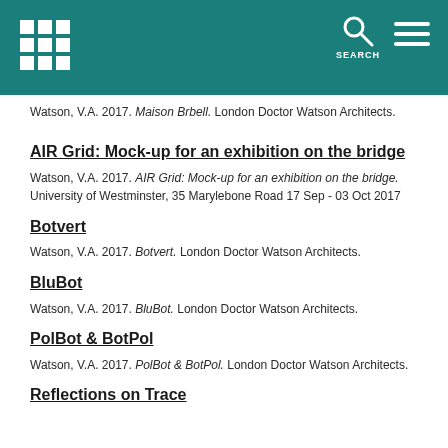Watson, V.A. 2017. Maison Brbell. London Doctor Watson Architects.
AIR Grid: Mock-up for an exhibition on the bridge
Watson, V.A. 2017. AIR Grid: Mock-up for an exhibition on the bridge. University of Westminster, 35 Marylebone Road 17 Sep - 03 Oct 2017
Botvert
Watson, V.A. 2017. Botvert. London Doctor Watson Architects.
BluBot
Watson, V.A. 2017. BluBot. London Doctor Watson Architects.
PolBot & BotPol
Watson, V.A. 2017. PolBot & BotPol. London Doctor Watson Architects.
Reflections on Trace